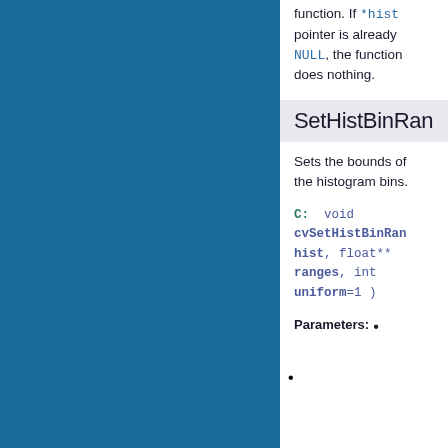function. If *hist pointer is already NULL, the function does nothing.
SetHistBinRan...
Sets the bounds of the histogram bins.
C: void cvSetHistBinRan... hist, float** ranges, int uniform=1 )
Parameters: •  •